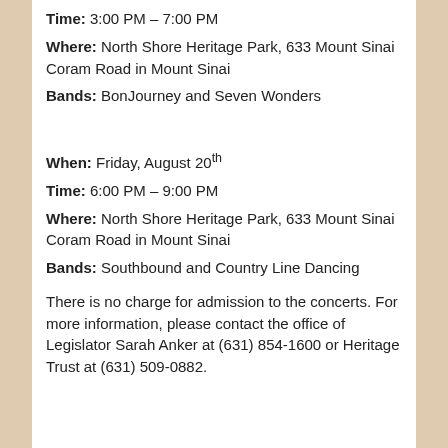Time: 3:00 PM – 7:00 PM
Where: North Shore Heritage Park, 633 Mount Sinai Coram Road in Mount Sinai
Bands: BonJourney and Seven Wonders
When: Friday, August 20th
Time: 6:00 PM – 9:00 PM
Where: North Shore Heritage Park, 633 Mount Sinai Coram Road in Mount Sinai
Bands: Southbound and Country Line Dancing
There is no charge for admission to the concerts. For more information, please contact the office of Legislator Sarah Anker at (631) 854-1600 or Heritage Trust at (631) 509-0882.